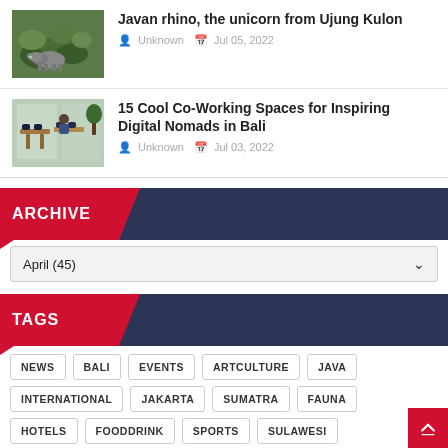[Figure (photo): Photo thumbnail of Javan rhino in forest, Ujung Kulon]
Javan rhino, the unicorn from Ujung Kulon
Unknown  Jul 05, 2022
[Figure (photo): Photo thumbnail of co-working space interior in Bali]
15 Cool Co-Working Spaces for Inspiring Digital Nomads in Bali
Unknown  Jul 03, 2022
ARCHIVE
April (45)
TAGS
NEWS
BALI
EVENTS
ARTCULTURE
JAVA
INTERNATIONAL
JAKARTA
SUMATRA
FAUNA
HOTELS
FOODDRINK
SPORTS
SULAWESI